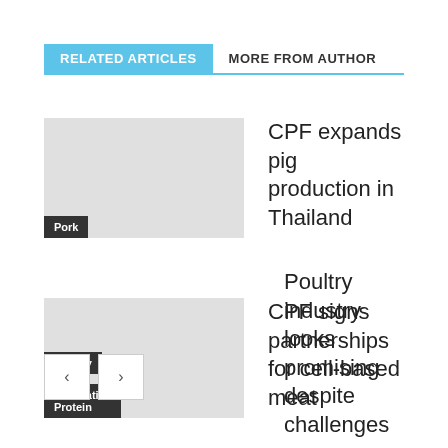RELATED ARTICLES
MORE FROM AUTHOR
Pork — CPF expands pig production in Thailand
Alternative Protein — CPF signs partnerships for cell-based meat
Poultry — Poultry industry looks promising despite challenges